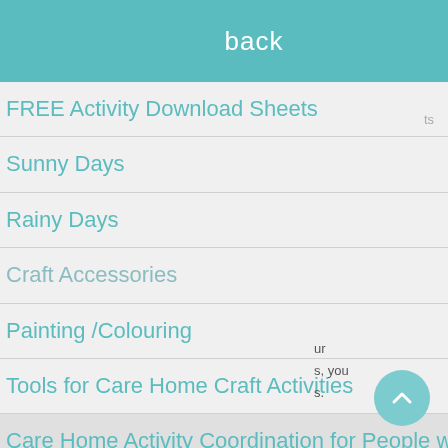back
FREE Activity Download Sheets
Sunny Days
Rainy Days
Craft Accessories
Painting /Colouring
Tools for Care Home Craft Activities
Care Home Activity Coordination for People with Dementia
Reminiscence Therapy
share.co.uk